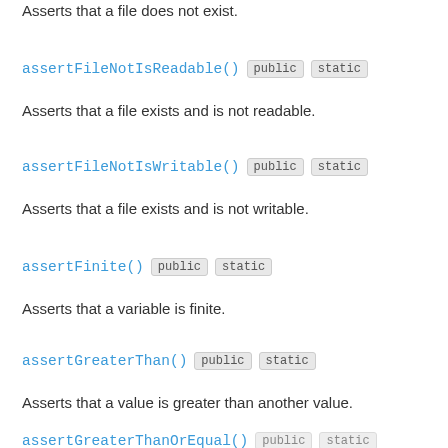Asserts that a file does not exist.
assertFileNotIsReadable()  public  static
Asserts that a file exists and is not readable.
assertFileNotIsWritable()  public  static
Asserts that a file exists and is not writable.
assertFinite()  public  static
Asserts that a variable is finite.
assertGreaterThan()  public  static
Asserts that a value is greater than another value.
assertGreaterThanOrEqual()  public  static